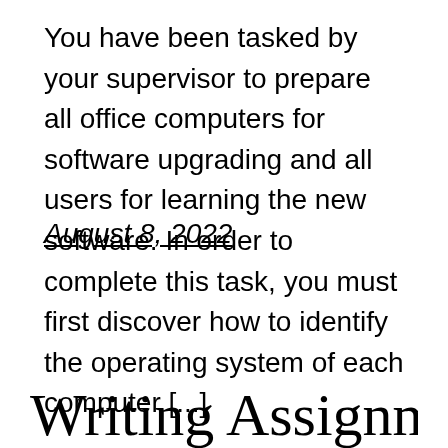You have been tasked by your supervisor to prepare all office computers for software upgrading and all users for learning the new software. In order to complete this task, you must first discover how to identify the operating system of each computer [...]
August 8, 2022
Writing Assignment